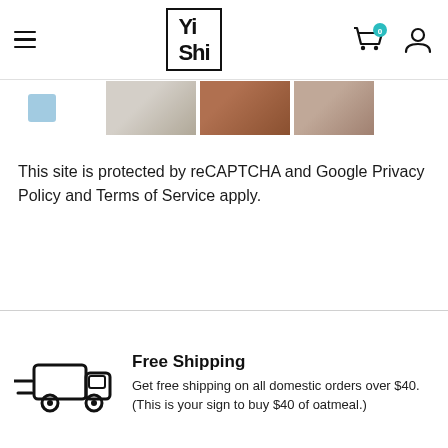[Figure (screenshot): Website header with hamburger menu, Yi Shi logo in a bordered box, cart icon with 0 badge, and user account icon]
[Figure (photo): Horizontal thumbnail strip showing a small blue shape and three cropped food/recipe photos]
This site is protected by reCAPTCHA and Google Privacy Policy and Terms of Service apply.
[Figure (illustration): Delivery truck icon for Free Shipping section]
Free Shipping
Get free shipping on all domestic orders over $40. (This is your sign to buy $40 of oatmeal.)